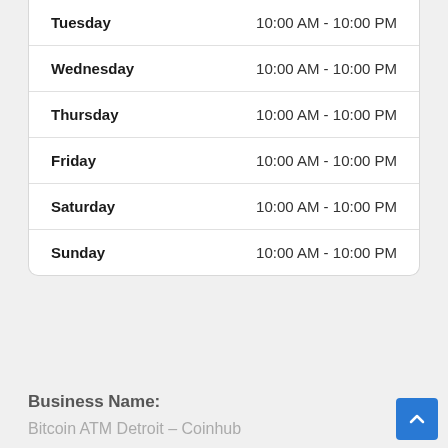| Day | Hours |
| --- | --- |
| Tuesday | 10:00 AM - 10:00 PM |
| Wednesday | 10:00 AM - 10:00 PM |
| Thursday | 10:00 AM - 10:00 PM |
| Friday | 10:00 AM - 10:00 PM |
| Saturday | 10:00 AM - 10:00 PM |
| Sunday | 10:00 AM - 10:00 PM |
Business Name:
Bitcoin ATM Detroit – Coinhub